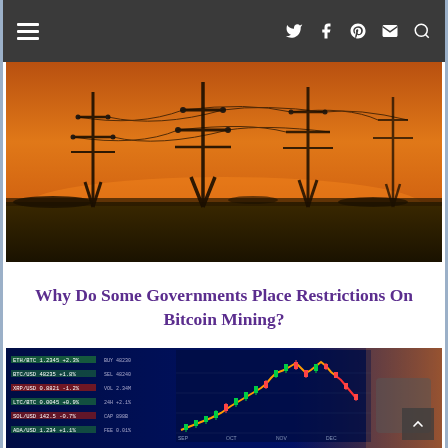Navigation bar with hamburger menu and social/search icons
[Figure (photo): Sunset landscape with power transmission line towers silhouetted against an orange sky]
Why Do Some Governments Place Restrictions On Bitcoin Mining?
[Figure (photo): Financial trading screen showing stock market candlestick chart data with a person holding a smartphone in the foreground]